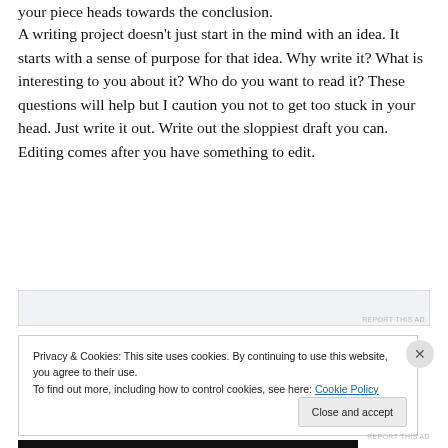your piece heads towards the conclusion.
A writing project doesn't just start in the mind with an idea. It starts with a sense of purpose for that idea. Why write it? What is interesting to you about it? Who do you want to read it? These questions will help but I caution you not to get too stuck in your head. Just write it out. Write out the sloppiest draft you can. Editing comes after you have something to edit.
[Figure (other): Advertisement area with REPORT THIS AD label]
Privacy & Cookies: This site uses cookies. By continuing to use this website, you agree to their use.
To find out more, including how to control cookies, see here: Cookie Policy